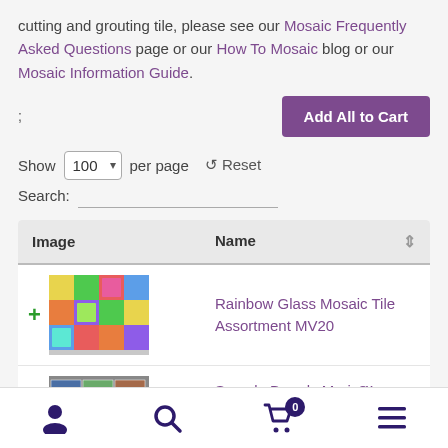cutting and grouting tile, please see our Mosaic Frequently Asked Questions page or our How To Mosaic blog or our Mosaic Information Guide.
; [Add All to Cart button]
Show 100 per page  Reset
Search:
| Image | Name |
| --- | --- |
| [mosaic tile image] | Rainbow Glass Mosaic Tile Assortment MV20 |
| [sample board image] | Sample Boards Morio™ Vitreous Glass |
User icon | Search icon | Cart (0) | Menu icon